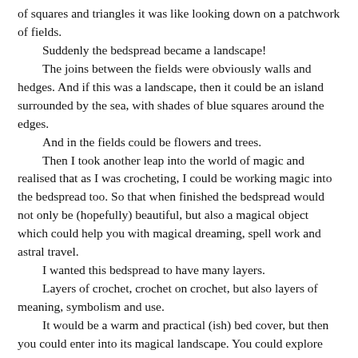of squares and triangles it was like looking down on a patchwork of fields. Suddenly the bedspread became a landscape! The joins between the fields were obviously walls and hedges. And if this was a landscape, then it could be an island surrounded by the sea, with shades of blue squares around the edges. And in the fields could be flowers and trees. Then I took another leap into the world of magic and realised that as I was crocheting, I could be working magic into the bedspread too. So that when finished the bedspread would not only be (hopefully) beautiful, but also a magical object which could help you with magical dreaming, spell work and astral travel. I wanted this bedspread to have many layers. Layers of crochet, crochet on crochet, but also layers of meaning, symbolism and use. It would be a warm and practical (ish) bed cover, but then you could enter into its magical landscape. You could explore the scenery, visit a particular place, swim in the sea. Maybe meet creatures who inhabit the landscape. The bedspread was going to have to have secret pockets in it with hidden objects or creatures. Suddenly it had become a wonderful and exciting Project, full of amazing possibilities. It could be as interesting and elaborate as